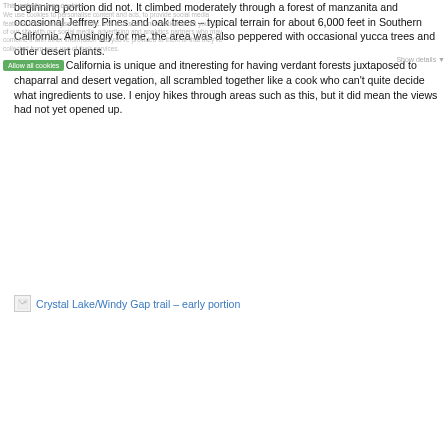beginning portion did not.  It climbed moderately through a forest of manzanita and occasional Jeffrey Pines and oak trees – typical terrain for about 6,000 feet in Southern California.  Amusingly for me, the area was also peppered with occasional yucca trees and other desert plants.
  Southern California is unique and itneresting for having verdant forests juxtaposed to chaparral and desert vegation, all scrambled together like a cook who can't quite decide what ingredients to use.  I enjoy hikes through areas such as this, but it did mean the views had not yet opened up.
[Figure (other): Broken image placeholder followed by link text 'Crystal Lake/Windy Gap trail – early portion']